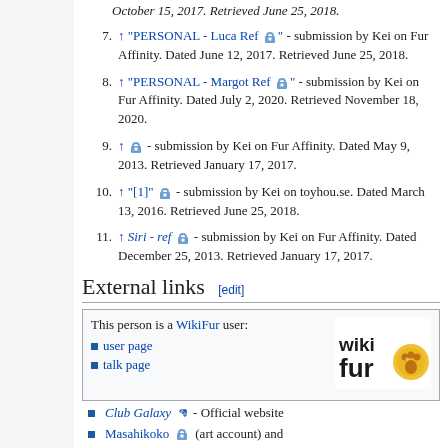↑ "PERSONAL - Luca Ref" 🔒 - submission by Kei on Fur Affinity. Dated June 12, 2017. Retrieved June 25, 2018.
↑ "PERSONAL - Margot Ref" 🔒 - submission by Kei on Fur Affinity. Dated July 2, 2020. Retrieved November 18, 2020.
↑ ​​​​​ 🔒 - submission by Kei on Fur Affinity. Dated May 9, 2013. Retrieved January 17, 2017.
↑ "[1]" 🔒 - submission by Kei on toyhou.se. Dated March 13, 2016. Retrieved June 25, 2018.
↑ Siri - ref 🔒 - submission by Kei on Fur Affinity. Dated December 25, 2013. Retrieved January 17, 2017.
External links [edit]
This person is a WikiFur user:
Kei's user page
Kei's talk page
Club Galaxy ↗ - Official website
Masahikoko 🔒 (art account) and